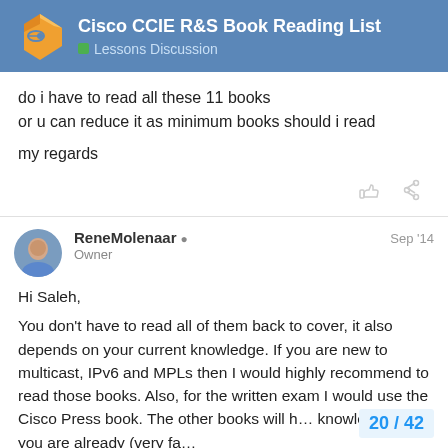Cisco CCIE R&S Book Reading List — Lessons Discussion
do i have to read all these 11 books
or u can reduce it as minimum books should i read

my regards
ReneMolenaar  Owner  Sep '14
Hi Saleh,

You don't have to read all of them back to cover, it also depends on your current knowledge. If you are new to multicast, IPv6 and MPLs then I would highly recommend to read those books. Also, for the written exam I would use the Cisco Press book. The other books will h... knowledge but if you are already (very fa... CCIE R&S ...
20 / 42